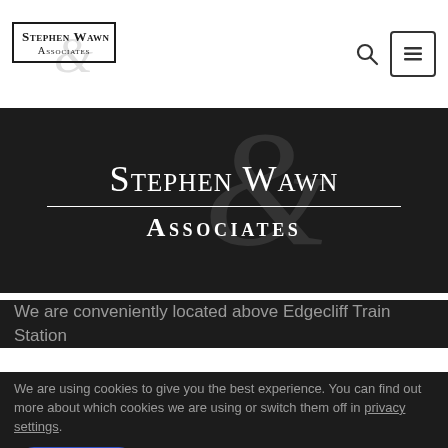Stephen Wawn & Associates
[Figure (logo): Stephen Wawn & Associates law firm logo with serif small-caps text and ampersand watermark]
Stephen Wawn & Associates
We are conveniently located above Edgecliff Train Station
We are using cookies to give you the best experience. You can find out more about which cookies we are using or switch them off in privacy settings.
Accept
Privacy Settings